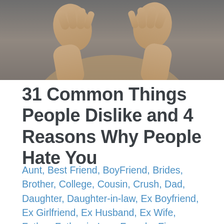[Figure (photo): Photo of a person with hands raised in a defensive or stop gesture, wearing a beige/olive colored shirt, against a grey background. Only the upper torso and hands are visible.]
31 Common Things People Dislike and 4 Reasons Why People Hate You
Aunt, Best Friend, BoyFriend, Brides, Brother, College, Cousin, Crush, Dad, Daughter, Daughter-in-law, Ex Boyfriend, Ex Girlfriend, Ex Husband, Ex Wife, Father, Father-in-Law, Female, Fiance, Girlfriend, Graduation, Grand Daughter, Grand Son, GrandFather, Grandmother, Groom, Husband, Male, Men, Mother, Mother-in-law, Nephew, New Mom, Niece, Niece & Nephew, School, Sister, Sister-in-Law, Son, Step Daughter